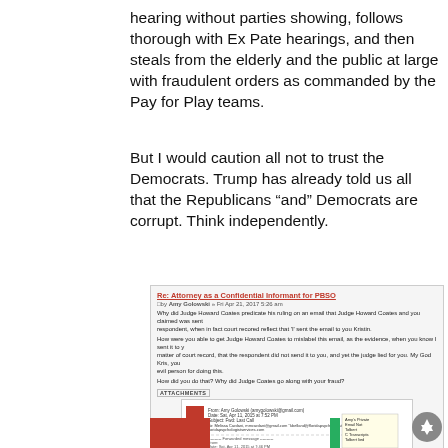hearing without parties showing, follows thorough with Ex Pate hearings, and then steals from the elderly and the public at large with fraudulent orders as commanded by the Pay for Play teams.
But I would caution all not to trust the Democrats. Trump has already told us all that the Republicans “and” Democrats are corrupt. Think independently.
[Figure (screenshot): Screenshot of a forum post titled 'Re: Attorney as a Confidential Informant for PBSO' by Amy Golowski, Fri Apr 21, 2017 5:26 am, discussing Judge Howard Coates and an email dispute. Contains an attachments section showing an embedded email document with annotations including 'Amy's Private Email Not Tolbert', 'C Transcripts Tolbert lied', and a red arrow.]